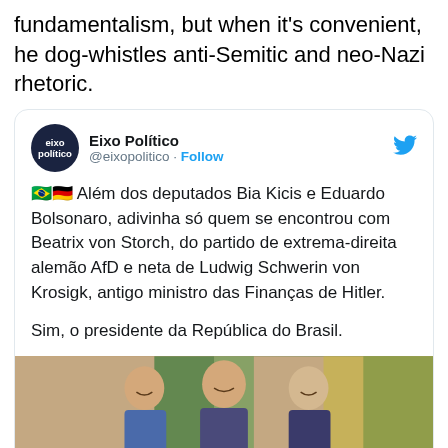fundamentalism, but when it's convenient, he dog-whistles anti-Semitic and neo-Nazi rhetoric.
[Figure (screenshot): Embedded tweet from @eixopolitico (Eixo Político) with text in Portuguese about deputies Bia Kicis and Eduardo Bolsonaro meeting Beatrix von Storch of the AfD party, granddaughter of Ludwig Schwerin von Krosigk, Hitler's Finance Minister. Includes a photo of three people posing together.]